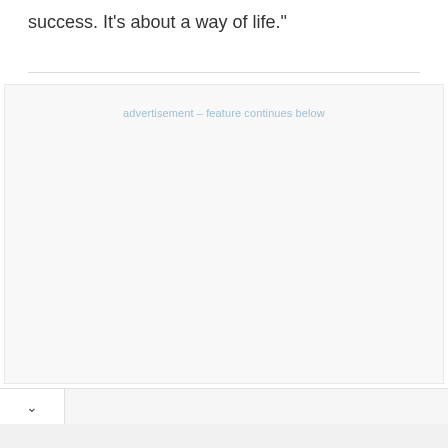success. It's about a way of life."
advertisement – feature continues below
[Figure (other): Advertisement placeholder box with label 'advertisement – feature continues below' and a chevron/collapse bar at bottom]